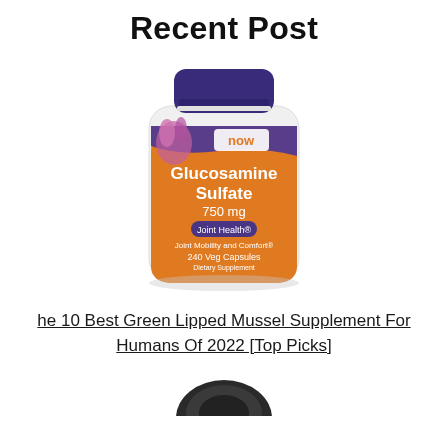Recent Post
[Figure (photo): NOW brand Glucosamine Sulfate 750mg Joint Health 240 Veg Capsules supplement bottle with orange and white label]
he 10 Best Green Lipped Mussel Supplement For Humans Of 2022 [Top Picks]
[Figure (photo): Partial view of a dark-colored supplement or product at the bottom of the page]